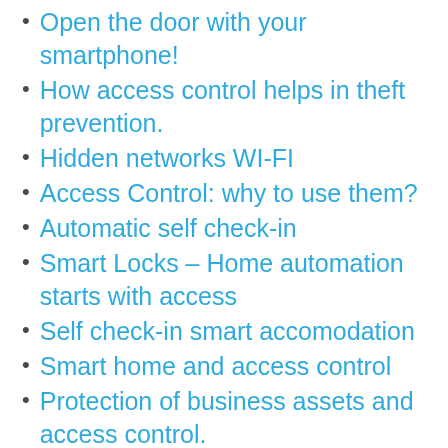Open the door with your smartphone!
How access control helps in theft prevention.
Hidden networks WI-FI
Access Control: why to use them?
Automatic self check-in
Smart Locks – Home automation starts with access
Self check-in smart accomodation
Smart home and access control
Protection of business assets and access control.
Limit Alert – Set an access limit